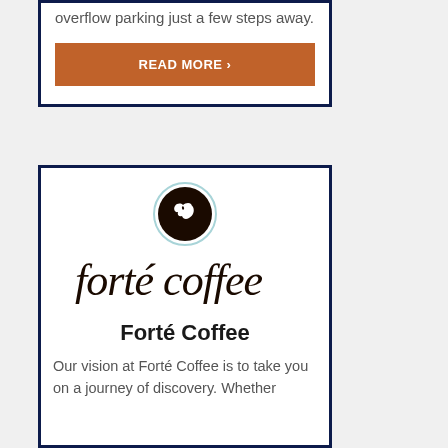overflow parking just a few steps away.
READ MORE ›
[Figure (logo): Forté Coffee logo: circular dark brown emblem with white bird, and cursive script text 'forté coffee' below]
Forté Coffee
Our vision at Forté Coffee is to take you on a journey of discovery. Whether